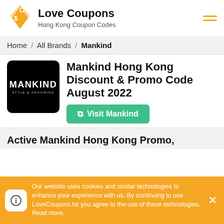Love Coupons — Hong Kong Coupon Codes
Home / All Brands / Mankind
Mankind Hong Kong Discount & Promo Code August 2022
Visit Mankind
Active Mankind Hong Kong Promo,
Our website uses cookies and similar technologies to enhance your experience with us. By continuing to use LoveCoupons.hk you agree to the use of these technologies. Read more.